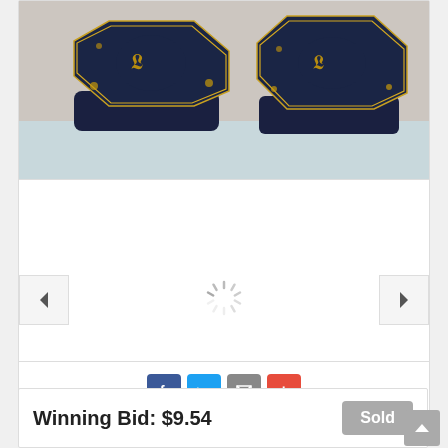[Figure (photo): Two cobalt blue porcelain jewelry trinket boxes with gold decorative designs showing classical figures, lids placed on top. Boxes are octagonal/rounded square shaped, photographed on a light surface.]
[Figure (screenshot): Image carousel navigation area with left arrow button, loading spinner in center, and right arrow button. Social sharing icons below: Facebook (blue), Twitter (light blue), Email (gray), and a red plus/more button.]
Winning Bid: $9.54
Sold